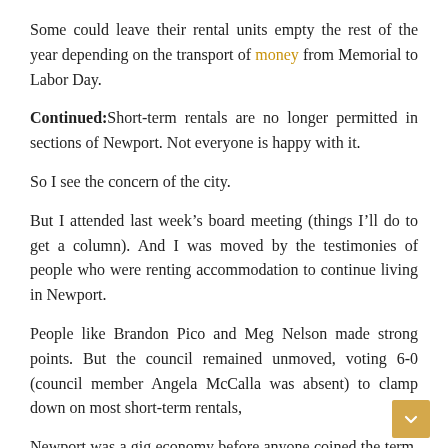Some could leave their rental units empty the rest of the year depending on the transport of money from Memorial to Labor Day.
Continued: Short-term rentals are no longer permitted in sections of Newport. Not everyone is happy with it.
So I see the concern of the city.
But I attended last week’s board meeting (things I’ll do to get a column). And I was moved by the testimonies of people who were renting accommodation to continue living in Newport.
People like Brandon Pico and Meg Nelson made strong points. But the council remained unmoved, voting 6-0 (council member Angela McCalla was absent) to clamp down on most short-term rentals,
Newport was a gig economy before anyone coined the term. In the 1980s, I remember meeting people who had three jobs. They wanted to stay in Newport and that’s how they did.